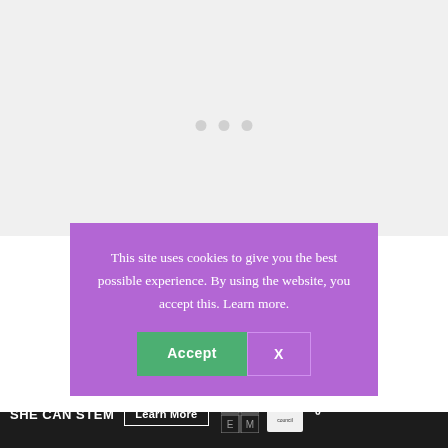[Figure (screenshot): Top gray area with three small dots indicating a loading or carousel indicator]
This site uses cookies to give you the best possible experience. By using the website, you accept this. Learn more.
Accept
X
Smooth
Stitches don’t slide off accidentally
They make unique, cool gifts for
SHE CAN STEM  Learn More